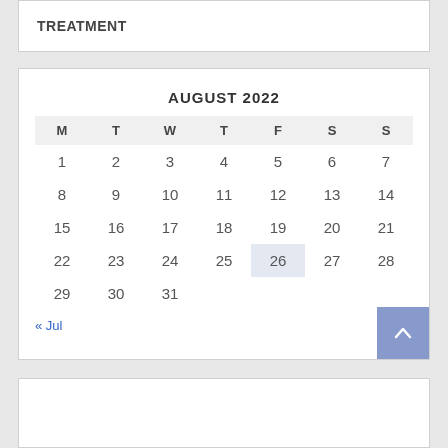TREATMENT
| M | T | W | T | F | S | S |
| --- | --- | --- | --- | --- | --- | --- |
| 1 | 2 | 3 | 4 | 5 | 6 | 7 |
| 8 | 9 | 10 | 11 | 12 | 13 | 14 |
| 15 | 16 | 17 | 18 | 19 | 20 | 21 |
| 22 | 23 | 24 | 25 | 26 | 27 | 28 |
| 29 | 30 | 31 |  |  |  |  |
« Jul